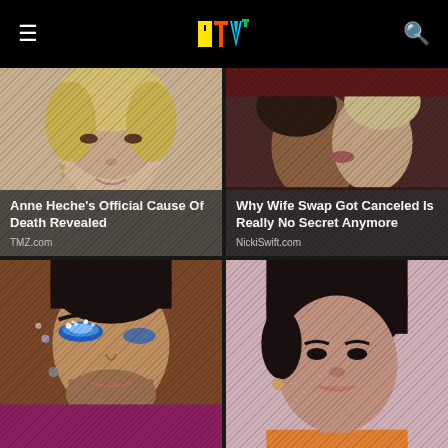MTV
[Figure (photo): Blonde woman smiling, appears to be Anne Heche at a public event]
Anne Heche's Official Cause Of Death Revealed
TMZ.com
[Figure (photo): Two people kissing, scene from Wife Swap TV show]
Why Wife Swap Got Canceled Is Really No Secret Anymore
NickiSwift.com
[Figure (photo): Person with dramatic blue and white eye makeup and glitter]
[Figure (photo): Young woman with dark hair looking slightly off camera]